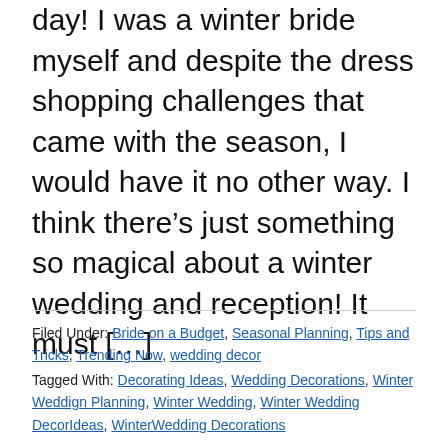day! I was a winter bride myself and despite the dress shopping challenges that came with the season, I would have it no other way. I think there's just something so magical about a winter wedding and reception! It must [...]
Filed Under: Bride on a Budget, Seasonal Planning, Tips and Tricks, Trending Now, wedding decor Tagged With: Decorating Ideas, Wedding Decorations, Winter Weddign Planning, Winter Wedding, Winter Wedding DecorIdeas, WinterWedding Decorations